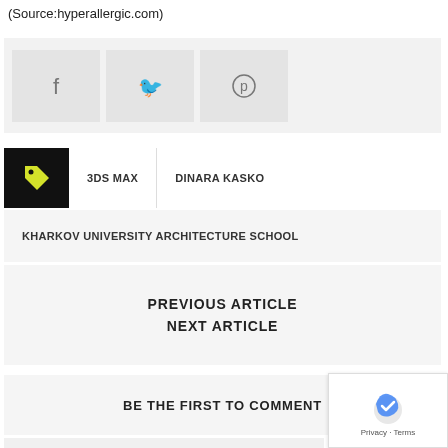(Source:hyperallergic.com)
[Figure (infographic): Social sharing bar with Facebook, Twitter, and Pinterest icon buttons on a light gray background]
3DS MAX
DINARA KASKO
KHARKOV UNIVERSITY ARCHITECTURE SCHOOL
PREVIOUS ARTICLE
NEXT ARTICLE
BE THE FIRST TO COMMENT